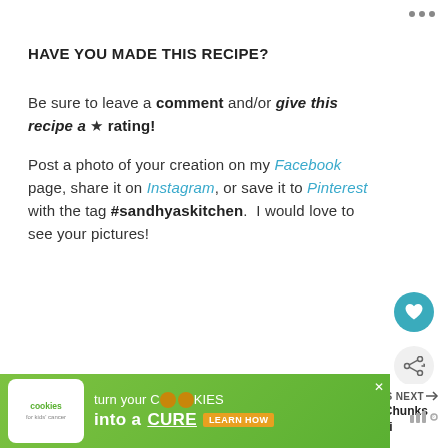HAVE YOU MADE THIS RECIPE?
Be sure to leave a comment and/or give this recipe a ★ rating!
Post a photo of your creation on my Facebook page, share it on Instagram, or save it to Pinterest with the tag #sandhyaskitchen.  I would love to see your pictures!
[Figure (screenshot): What's Next widget showing Soya Chunks Biryani thumbnail]
[Figure (other): Advertisement banner: Cookies for Kids Cancer - turn your COOKIES into a CURE LEARN HOW]